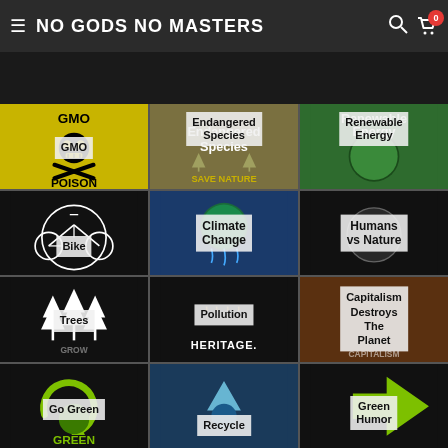NO GODS NO MASTERS
[Figure (screenshot): Grid of product category thumbnails for an activist/environmental merchandise store. Row 1: GMO Poison (yellow/black skull), Endangered Species (Save Nature), Renewable Energy (green globe). Row 2: Bike (black/white bicycle graphic), Climate Change (melting earth), Humans vs Nature (grey globe). Row 3: Trees / More Trees (white trees), Pollution (Heritage grunge), Capitalism Destroys The Planet. Row 4: Go Green, Recycle (arrows), Green Humor.]